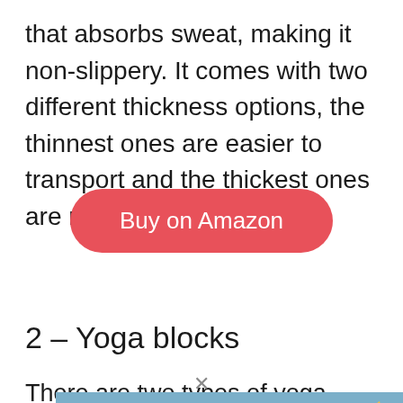that absorbs sweat, making it non-slippery. It comes with two different thickness options, the thinnest ones are easier to transport and the thickest ones are more comfortable.
[Figure (other): Buy on Amazon button — a red/pink rounded pill-shaped button with white text reading 'Buy on Amazon']
2 – Yoga blocks
There are two types of yoga blocks to
[Figure (photo): Advertisement banner showing an airplane being loaded with cargo, with text overlay reading 'WITHOUT REGARD TO POLITICS, RELIGION OR HEALTH TO ALL']